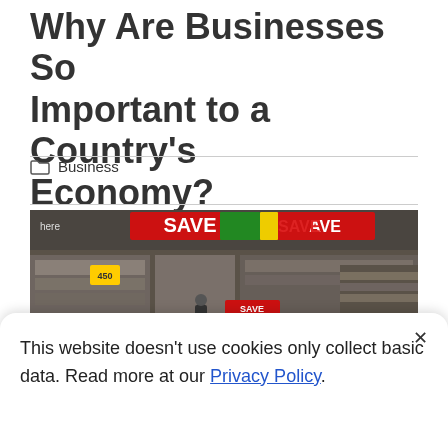Why Are Businesses So Important to a Country's Economy?
Business
[Figure (photo): Interior of a grocery store/supermarket with produce displayed in green bins in the foreground. Signs reading 'SAVE' and 'AVE' hang from the ceiling. Price tags visible including R24 and R21. Shelves of products visible in background.]
This website doesn't use cookies only collect basic data. Read more at our Privacy Policy.